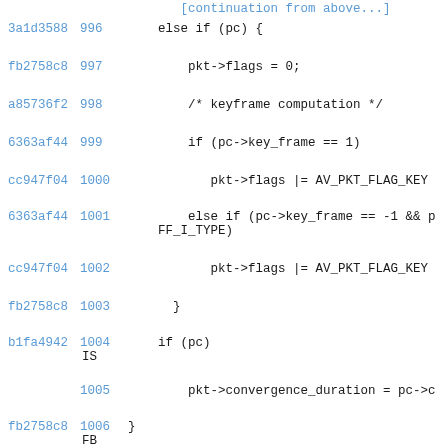Code listing showing C source lines 996-1009 with hash prefixes and line numbers
3a1d3588 996    else if (pc) {
fb2758c8 997        pkt->flags = 0;
a85736f2 998        /* keyframe computation */
6363af44 999        if (pc->key_frame == 1)
cc947f04 1000           pkt->flags |= AV_PKT_FLAG_KEY
6363af44 1001           else if (pc->key_frame == -1 && p FF_I_TYPE)
cc947f04 1002           pkt->flags |= AV_PKT_FLAG_KEY
fb2758c8 1003       }
b1fa4942 1004   if (pc) IS
1005       pkt->convergence_duration = pc->c
fb2758c8 1006 } FB
1007
fb2758c8 1008 FB
1009 static int av_read_frame_internal(AVForma *pkt)